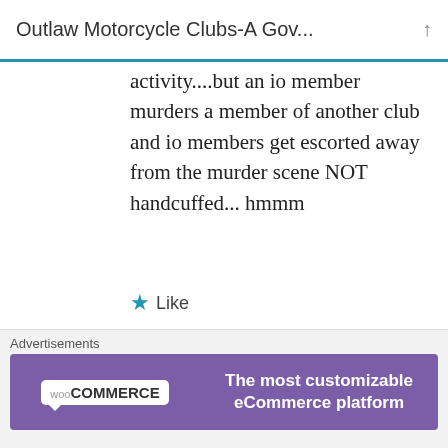Outlaw Motorcycle Clubs-A Gov...
activity....but an io member murders a member of another club and io members get escorted away from the murder scene NOT handcuffed... hmmm
Like
Maxx Bullet   FEBRUARY 12, 2016 AT 12:46 AM
[Figure (other): WooCommerce advertisement banner: purple background with WooCommerce logo on left and text 'The most customizable eCommerce platform' on right]
Advertisements